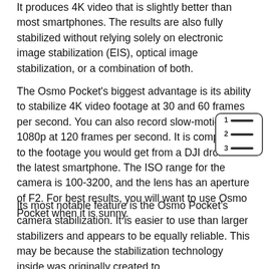It produces 4K video that is slightly better than most smartphones. The results are also fully stabilized without relying solely on electronic image stabilization (EIS), optical image stabilization, or a combination of both.
The Osmo Pocket's biggest advantage is its ability to stabilize 4K video footage at 30 and 60 frames per second. You can also record slow-motion 1080p at 120 frames per second. It is comparable to the footage you would get from a DJI drone or the latest smartphone. The ISO range for the camera is 100-3200, and the lens has an aperture of F2. For best results, you will want to use Osmo Pocket when it is sunny.
[Figure (other): Table of contents icon with numbered lines (1, 2, 3) inside a rounded rectangle]
Its most notable feature is the Osmo Pocket's camera stabilization. It is easier to use than larger stabilizers and appears to be equally reliable. This may be because the stabilization technology inside was originally created to